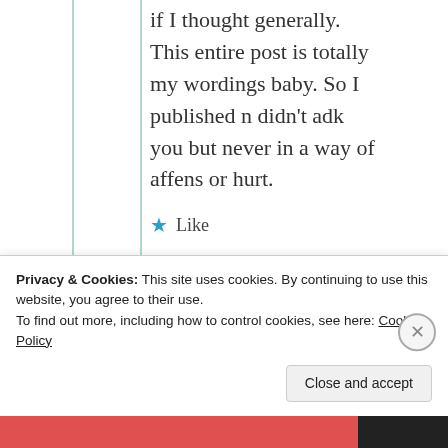if I thought generally. This entire post is totally my wordings baby. So I published n didn't adk you but never in a way of affens or hurt.
★ Like
[Figure (illustration): WordPress user avatar icon for mildredprince]
mildredprince
Privacy & Cookies: This site uses cookies. By continuing to use this website, you agree to their use. To find out more, including how to control cookies, see here: Cookie Policy
Close and accept